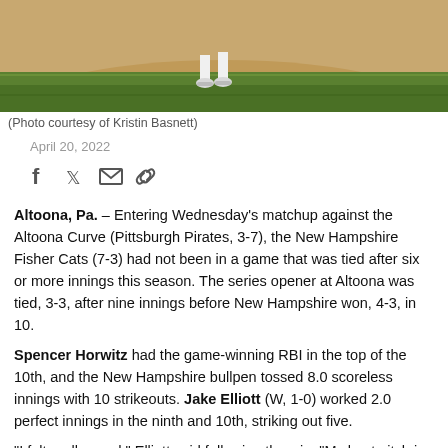[Figure (photo): Baseball pitcher on mound, shot from behind showing legs and cleats on dirt mound with green grass in background]
(Photo courtesy of Kristin Basnett)
April 20, 2022
[Figure (infographic): Social sharing icons: Facebook, Twitter, Email, Link]
Altoona, Pa. – Entering Wednesday's matchup against the Altoona Curve (Pittsburgh Pirates, 3-7), the New Hampshire Fisher Cats (7-3) had not been in a game that was tied after six or more innings this season. The series opener at Altoona was tied, 3-3, after nine innings before New Hampshire won, 4-3, in 10.
Spencer Horwitz had the game-winning RBI in the top of the 10th, and the New Hampshire bullpen tossed 8.0 scoreless innings with 10 strikeouts. Jake Elliott (W, 1-0) worked 2.0 perfect innings in the ninth and 10th, striking out five.
“I felt really good,” Elliott said following the win. “My best pitch is my changeup, and that was definitely on tonight. They didn’t seem to be seeing it real well.”